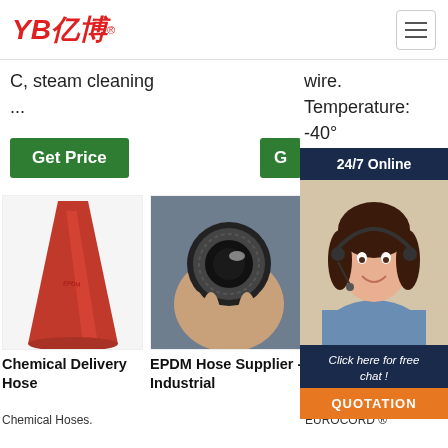YB亿博® [hamburger menu]
C, steam cleaning ...
wire. Temperature: -40°
Get Price
G [partially hidden]
[Figure (photo): Red conical rubber/silicone hose end]
[Figure (photo): Hand holding a black EPDM hose cross-section]
[Figure (photo): Chat agent woman with headset smiling]
24/7 Online
Click here for free chat !
QUOTATION
Chemical Delivery Hose
Chemical Hoses.
EPDM Hose Supplier - Industrial
Cordlink®/SP - SATI Group
EUROCORD ®